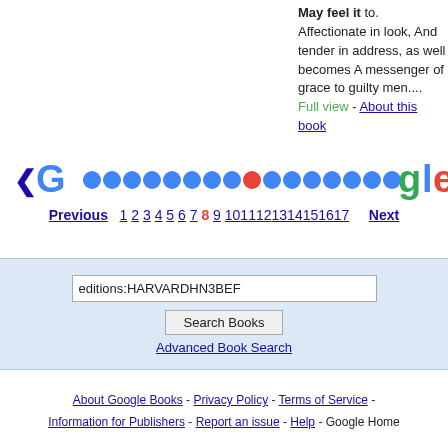May feel it to. Affectionate in look, And tender in address, as well becomes A messenger of grace to guilty men.... Full view - About this book
[Figure (other): Google pagination logo with colored circles spelling Gooooooooooooooooooogle with left and right arrows]
Previous 1 2 3 4 5 6 7 8 9 10 11 12 13 14 15 16 17 Next
editions:HARVARDHN3BEF [search input] Search Books Advanced Book Search
About Google Books - Privacy Policy - Terms of Service - Information for Publishers - Report an issue - Help - Google Home